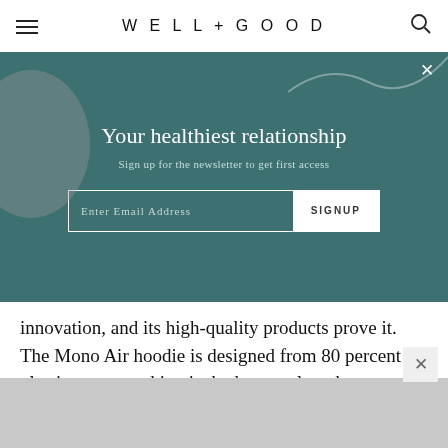WELL+GOOD
[Figure (screenshot): Newsletter signup modal overlay with teal background, showing 'Your healthiest relationship' heading, subtitle 'Sign up for the newsletter to get first access', and an email input with SIGNUP button]
innovation, and its high-quality products prove it. The Mono Air hoodie is designed from 80 percent plastic waste, making it shed waaay less than traditional fleece while improving insulation. Seriously—this jacket is legit.
[Figure (illustration): Geometric hexagon tile pattern in grey at bottom of page]